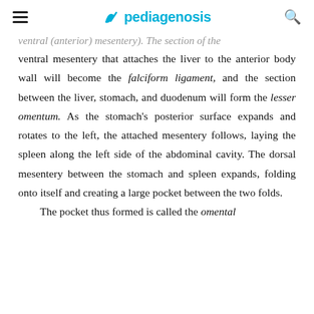pediagenosis
ventral (anterior) mesentery). The section of the ventral mesentery that attaches the liver to the anterior body wall will become the falciform ligament, and the section between the liver, stomach, and duodenum will form the lesser omentum. As the stomach's posterior surface expands and rotates to the left, the attached mesentery follows, laying the spleen along the left side of the abdominal cavity. The dorsal mesentery between the stomach and spleen expands, folding onto itself and creating a large pocket between the two folds.
The pocket thus formed is called the omental